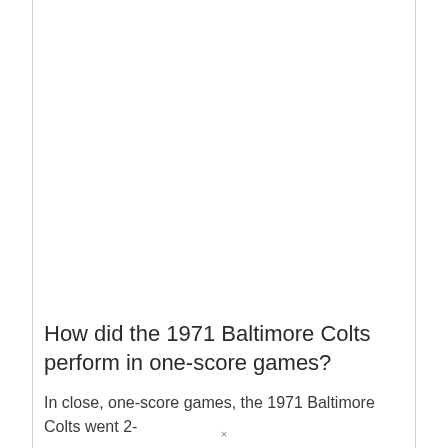How did the 1971 Baltimore Colts perform in one-score games?
In close, one-score games, the 1971 Baltimore Colts went 2-